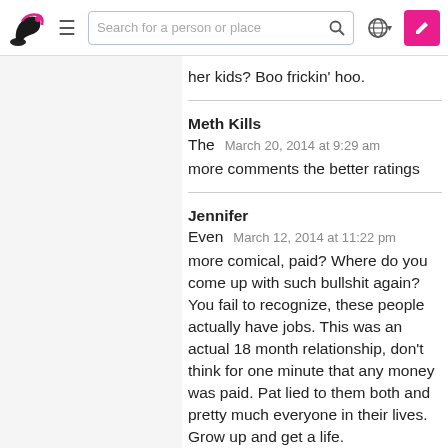Search for a person or place
her kids? Boo frickin' hoo.
Meth Kills
The   March 20, 2014 at 9:29 am
more comments the better ratings
Jennifer
Even   March 12, 2014 at 11:22 pm
more comical, paid? Where do you come up with such bullshit again? You fail to recognize, these people actually have jobs. This was an actual 18 month relationship, don't think for one minute that any money was paid. Pat lied to them both and pretty much everyone in their lives. Grow up and get a life.